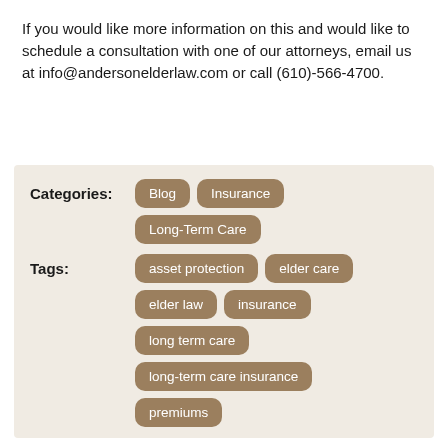If you would like more information on this and would like to schedule a consultation with one of our attorneys, email us at info@andersonelderlaw.com or call (610)-566-4700.
Categories: Blog, Insurance, Long-Term Care
Tags: asset protection, elder care, elder law, insurance, long term care, long-term care insurance, premiums